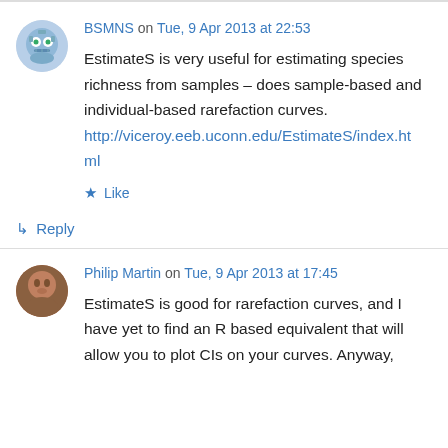BSMNS on Tue, 9 Apr 2013 at 22:53
EstimateS is very useful for estimating species richness from samples – does sample-based and individual-based rarefaction curves. http://viceroy.eeb.uconn.edu/EstimateS/index.html
★ Like
↳ Reply
Philip Martin on Tue, 9 Apr 2013 at 17:45
EstimateS is good for rarefaction curves, and I have yet to find an R based equivalent that will allow you to plot CIs on your curves. Anyway,